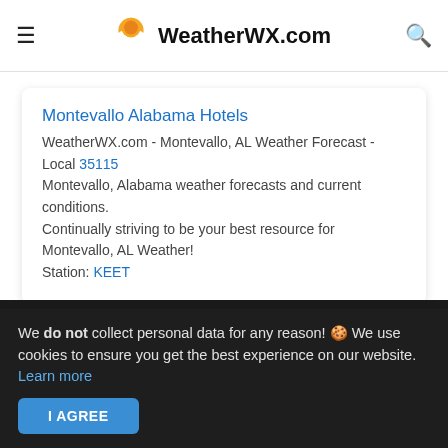WeatherWX.com
Montevallo Alabama Hotels
WeatherWX.com - Montevallo, AL Weather Forecast - Local 35115 Montevallo, Alabama weather forecasts and current conditions. Continually striving to be your best resource for Montevallo, AL Weather! Station: KEET
[Figure (logo): WeatherWX.com footer logo with cloud and sun icon]
WEATHERWX.COM
We do not collect personal data for any reason! 🍪 We use cookies to ensure you get the best experience on our website. Learn more
I AGREE